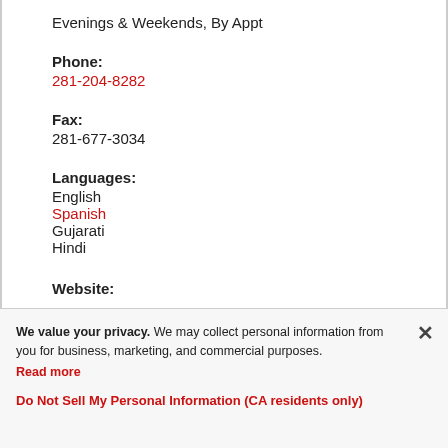Evenings & Weekends, By Appt
Phone:
281-204-8282
Fax:
281-677-3034
Languages:
English
Spanish
Gujarati
Hindi
Website:
We value your privacy. We may collect personal information from you for business, marketing, and commercial purposes. Read more
Do Not Sell My Personal Information (CA residents only)